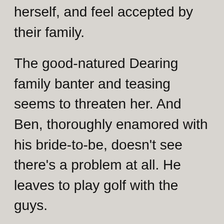herself, and feel accepted by their family.
The good-natured Dearing family banter and teasing seems to threaten her. And Ben, thoroughly enamored with his bride-to-be, doesn't see there's a problem at all. He leaves to play golf with the guys.
With the strikes against her from being an only child and suffering from an abusive past, she just doesn't fit in. Even Lady Penelope sticks her nose in the air and leaves when Christina talks to her. Defeated, Christina holes up in her bedroom apart from the family, waiting for Ben to come home.